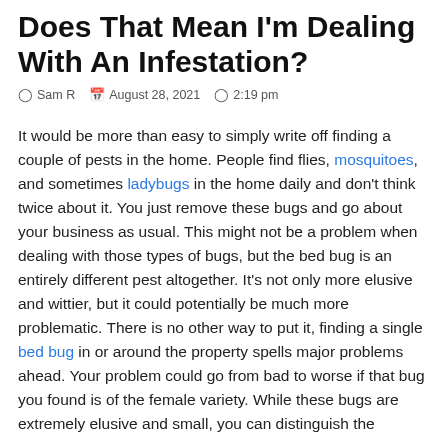Does That Mean I'm Dealing With An Infestation?
Sam R   August 28, 2021   2:19 pm
It would be more than easy to simply write off finding a couple of pests in the home. People find flies, mosquitoes, and sometimes ladybugs in the home daily and don't think twice about it. You just remove these bugs and go about your business as usual. This might not be a problem when dealing with those types of bugs, but the bed bug is an entirely different pest altogether. It's not only more elusive and wittier, but it could potentially be much more problematic. There is no other way to put it, finding a single bed bug in or around the property spells major problems ahead. Your problem could go from bad to worse if that bug you found is of the female variety. While these bugs are extremely elusive and small, you can distinguish the